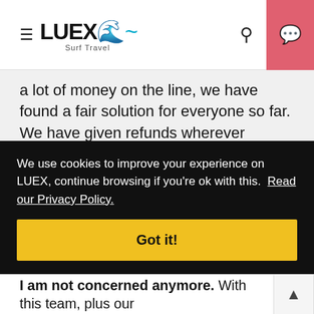LUEX Surf Travel
a lot of money on the line, we have found a fair solution for everyone so far. We have given refunds wherever possible, value vouchers in other cases, and we have changed dates of travel with convenient conditions or found other individual solutions if needed. All this while keeping an eye on our valued suppliers and trying to keep the trips alive for them as well. Big hugs to all our clients and suppliers for the good [...]m. [...] of [...] e best [...] d so [...] ne, [...] t [...] ng and [...] esome!
We use cookies to improve your experience on LUEX, continue browsing if you're ok with this. Read our Privacy Policy.
Got it!
I am not concerned anymore. With this team, plus our